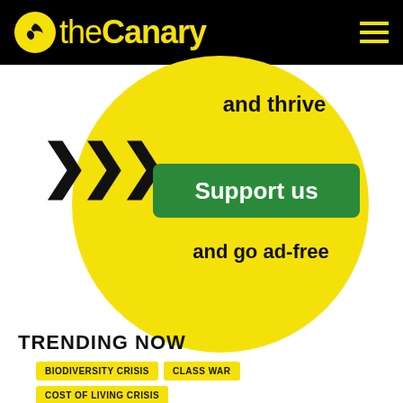the Canary
[Figure (infographic): Yellow circle with 'and thrive' text, black chevron arrows, green 'Support us' button, and 'and go ad-free' text]
TRENDING NOW
BIODIVERSITY CRISIS
CLASS WAR
COST OF LIVING CRISIS
NATIONALISATION
POLICING
RACISM
TRADE UNIONS
MOST POPULAR
ANALYSIS
CLASS WAR